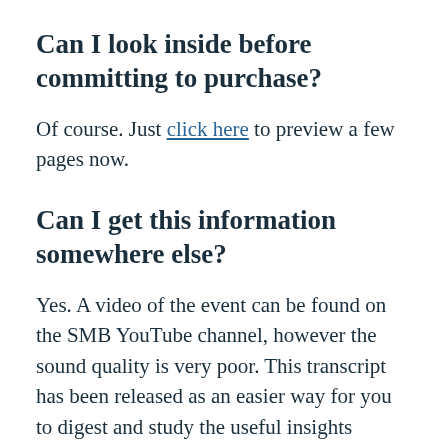Can I look inside before committing to purchase?
Of course. Just click here to preview a few pages now.
Can I get this information somewhere else?
Yes. A video of the event can be found on the SMB YouTube channel, however the sound quality is very poor. This transcript has been released as an easier way for you to digest and study the useful insights shared by the speakers.